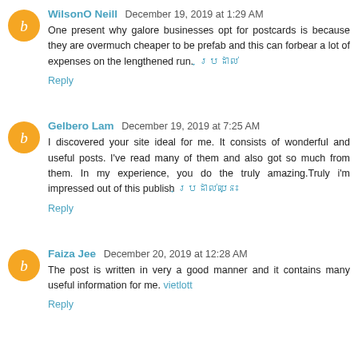WilsonO Neill December 19, 2019 at 1:29 AM
One present why galore businesses opt for postcards is because they are overmuch cheaper to be prefab and this can forbear a lot of expenses on the lengthened run. [link]
Reply
Gelbero Lam December 19, 2019 at 7:25 AM
I discovered your site ideal for me. It consists of wonderful and useful posts. I've read many of them and also got so much from them. In my experience, you do the truly amazing.Truly i'm impressed out of this publish [link]
Reply
Faiza Jee December 20, 2019 at 12:28 AM
The post is written in very a good manner and it contains many useful information for me. vietlott
Reply